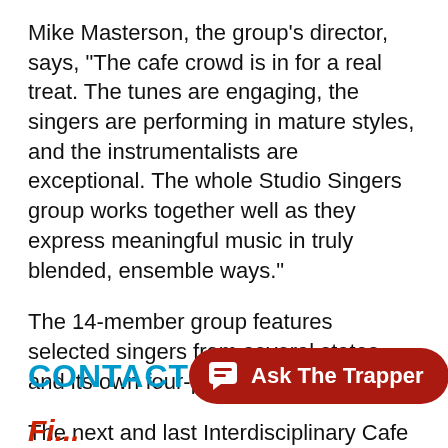Mike Masterson, the group's director, says, "The cafe crowd is in for a real treat. The tunes are engaging, the singers are performing in mature styles, and the instrumentalists are exceptional. The whole Studio Singers group works together well as they express meaningful music in truly blended, ensemble ways."
The 14-member group features selected singers from several states and its own four-piece rhythm section.
The next and last Interdisciplinary Cafe of the season will feature Cody writer Bill Hoagland and the Montana Coyotes on Friday, May 9.
CONTACT
[Figure (other): Red rounded button with chat icon and text 'Ask The Trapper']